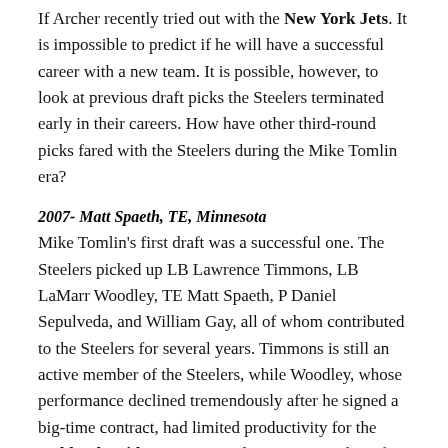If Archer recently tried out with the New York Jets. It is impossible to predict if he will have a successful career with a new team. It is possible, however, to look at previous draft picks the Steelers terminated early in their careers. How have other third-round picks fared with the Steelers during the Mike Tomlin era?
2007- Matt Spaeth, TE, Minnesota
Mike Tomlin's first draft was a successful one. The Steelers picked up LB Lawrence Timmons, LB LaMarr Woodley, TE Matt Spaeth, P Daniel Sepulveda, and William Gay, all of whom contributed to the Steelers for several years. Timmons is still an active member of the Steelers, while Woodley, whose performance declined tremendously after he signed a big-time contract, had limited productivity for the Oakland Raiders in 2014 and is now a member of the Arizona Cardinals where